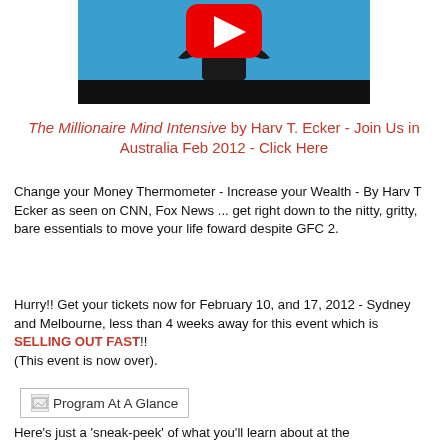[Figure (screenshot): YouTube video thumbnail showing a person in a black shirt against a blue background with a YouTube play button icon, and a dark bar at the bottom.]
The Millionaire Mind Intensive by Harv T. Ecker - Join Us in Australia Feb 2012 - Click Here
Change your Money Thermometer - Increase your Wealth - By Harv T Ecker as seen on CNN, Fox News ... get right down to the nitty, gritty, bare essentials to move your life foward despite GFC 2.
Hurry!! Get your tickets now for February 10, and 17, 2012 - Sydney and Melbourne, less than 4 weeks away for this event which is SELLING OUT FAST!! (This event is now over).
[Figure (screenshot): An image placeholder labeled 'Program At A Glance' with a broken image icon]
Here's just a 'sneak-peek' of what you'll learn about at the